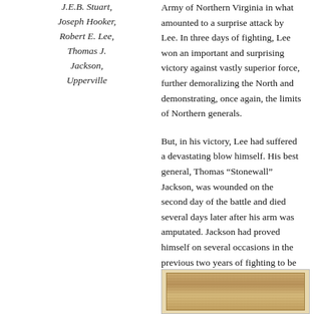J.E.B. Stuart, Joseph Hooker, Robert E. Lee, Thomas J. Jackson, Upperville
Army of Northern Virginia in what amounted to a surprise attack by Lee. In three days of fighting, Lee won an important and surprising victory against vastly superior force, further demoralizing the North and demonstrating, once again, the limits of Northern generals.
But, in his victory, Lee had suffered a devastating blow himself. His best general, Thomas “Stonewall” Jackson, was wounded on the second day of the battle and died several days later after his arm was amputated. Jackson had proved himself on several occasions in the previous two years of fighting to be a creative and irreplaceable part of the Army of Northern Virginia. Few single casualties of the war were as important as the death of Stonewall Jackson.
[Figure (photo): Partial view of a sepia-toned historical photograph, partially visible at the bottom of the page.]